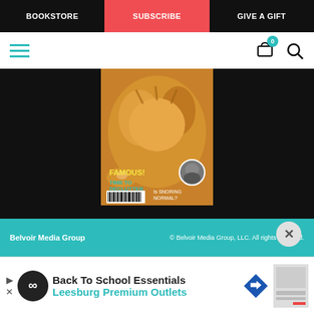BOOKSTORE | SUBSCRIBE | GIVE A GIFT
[Figure (screenshot): Navigation icon bar with hamburger menu, cart with badge 0, and search icon]
[Figure (photo): Magazine cover showing cat with text FAMOUS!, TIME TO DECLUTTER, Is SNORING NORMAL?]
Cat lover?
VISIT CATSTER
Belvoir Media Group | © Belvoir Media Group, LLC. All rights reserved.
[Figure (screenshot): Advertisement: Back To School Essentials - Leesburg Premium Outlets]